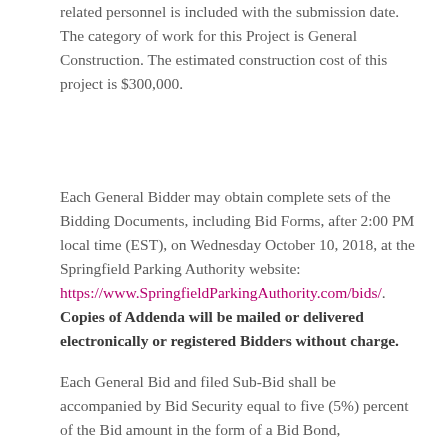related personnel is included with the submission date. The category of work for this Project is General Construction. The estimated construction cost of this project is $300,000.
Each General Bidder may obtain complete sets of the Bidding Documents, including Bid Forms, after 2:00 PM local time (EST), on Wednesday October 10, 2018, at the Springfield Parking Authority website: https://www.SpringfieldParkingAuthority.com/bids/. Copies of Addenda will be mailed or delivered electronically or registered Bidders without charge.
Each General Bid and filed Sub-Bid shall be accompanied by Bid Security equal to five (5%) percent of the Bid amount in the form of a Bid Bond,